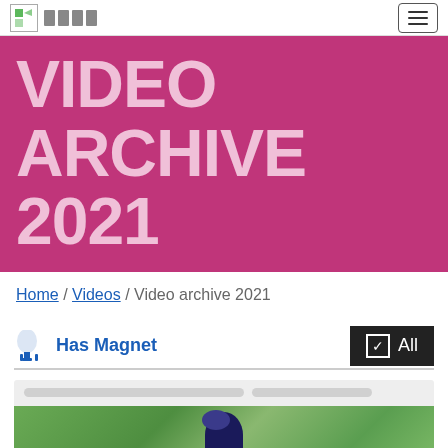Logo / Navigation bar with hamburger menu
VIDEO ARCHIVE 2021
Home / Videos / Video archive 2021
Has Magnet  All
[Figure (photo): Partial view of a person with dark hair outdoors with green foliage background, card thumbnail for a video]